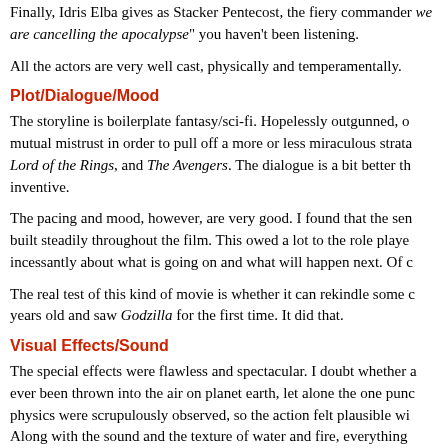Finally, Idris Elba gives as Stacker Pentecost, the fiery commander "we are cancelling the apocalypse" you haven't been listening.
All the actors are very well cast, physically and temperamentally.
Plot/Dialogue/Mood
The storyline is boilerplate fantasy/sci-fi. Hopelessly outgunned, o mutual mistrust in order to pull off a more or less miraculous strata Lord of the Rings, and The Avengers. The dialogue is a bit better th inventive.
The pacing and mood, however, are very good. I found that the sen built steadily throughout the film. This owed a lot to the role playe incessantly about what is going on and what will happen next. Of c
The real test of this kind of movie is whether it can rekindle some years old and saw Godzilla for the first time. It did that.
Visual Effects/Sound
The special effects were flawless and spectacular. I doubt whether ever been thrown into the air on planet earth, let alone the one pun physics were scrupulously observed, so the action felt plausible wi Along with the sound and the texture of water and fire, everything report that there was not a hint of offensive, Peter Jackson goofines
The interiors of the Jaeger fortress had an iron retro look, a bit like Sea (1954). Pretty much everything else, including the inside and c